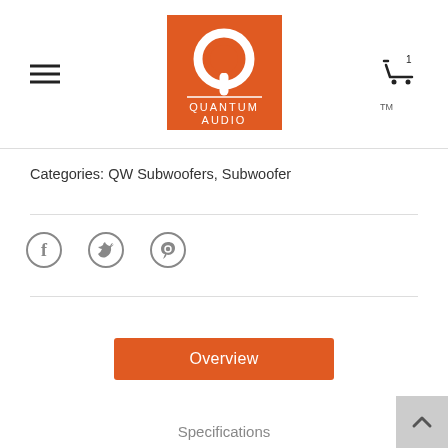[Figure (logo): Quantum Audio orange logo with Q icon and brand name]
Categories: QW Subwoofers, Subwoofer
[Figure (infographic): Social share icons: Facebook, Twitter, Pinterest]
Overview
Specifications